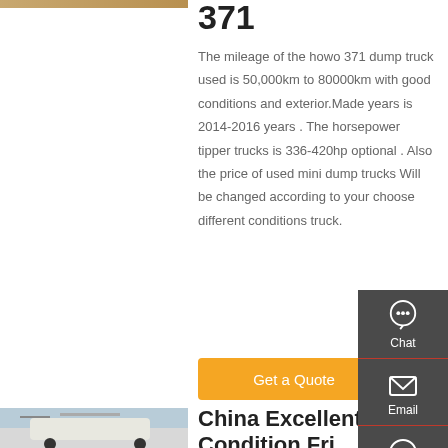[Figure (photo): Partial top image of a truck or vehicle, cropped at the top of the page, left column]
371
The mileage of the howo 371 dump truck used is 50,000km to 80000km with good conditions and exterior.Made years is 2014-2016 years . The horsepower tipper trucks is 336-420hp optional . Also the price of used mini dump trucks Will be changed according to your choose different conditions truck.
[Figure (infographic): Side panel with Chat, Email, Contact, and Top icons on a dark grey background]
[Figure (photo): Orange 'Get a Quote' button]
[Figure (photo): Bottom left photo of a white truck with equipment on top, sky background]
China Excellent Condition Fri...